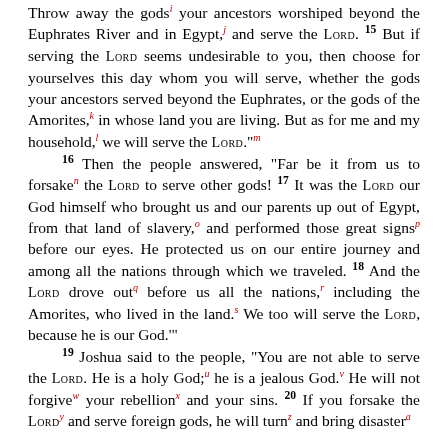Throw away the gods your ancestors worshiped beyond the Euphrates River and in Egypt, and serve the LORD. 15 But if serving the LORD seems undesirable to you, then choose for yourselves this day whom you will serve, whether the gods your ancestors served beyond the Euphrates, or the gods of the Amorites, in whose land you are living. But as for me and my household, we will serve the LORD.” 16 Then the people answered, “Far be it from us to forsake the LORD to serve other gods! 17 It was the LORD our God himself who brought us and our parents up out of Egypt, from that land of slavery, and performed those great signs before our eyes. He protected us on our entire journey and among all the nations through which we traveled. 18 And the LORD drove out before us all the nations, including the Amorites, who lived in the land. We too will serve the LORD, because he is our God.’” 19 Joshua said to the people, “You are not able to serve the LORD. He is a holy God; he is a jealous God. He will not forgive your rebellion and your sins. 20 If you forsake the LORD and serve foreign gods, he will turn and bring disaster